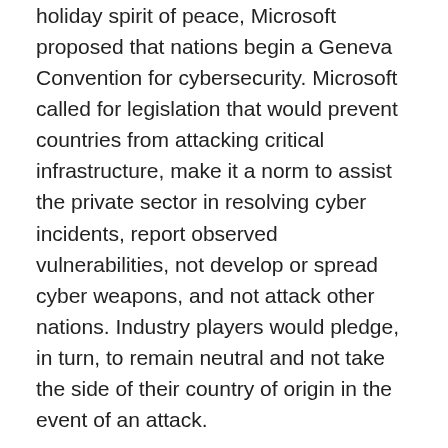holiday spirit of peace, Microsoft proposed that nations begin a Geneva Convention for cybersecurity. Microsoft called for legislation that would prevent countries from attacking critical infrastructure, make it a norm to assist the private sector in resolving cyber incidents, report observed vulnerabilities, not develop or spread cyber weapons, and not attack other nations. Industry players would pledge, in turn, to remain neutral and not take the side of their country of origin in the event of an attack.
We're curious to see how Kaspersky plays here.
March
White House Hires Special Assistant for Innovation
After unpacking his boxes and settling into the Oval Office, President Trump decided to focus on making America great by promoting innovation. Trump hired